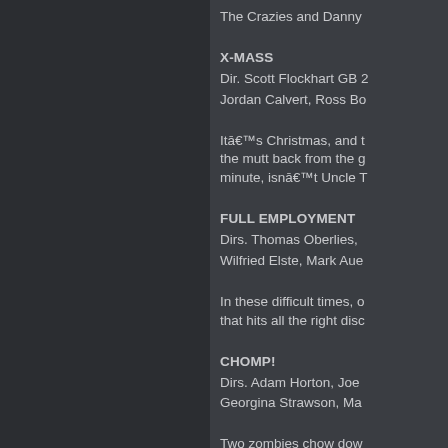The Crazies and Danny
X-MASS
Dir. Scott Flockhart GB 2
Jordan Calvert, Ross Bo
Itâ€™s Christmas, and t the mutt back from the g minute, isnâ€™t Uncle T
FULL EMPLOYMENT
Dirs. Thomas Oberlies, Wilfried Elste, Mark Aue
In these difficult times, o that hits all the right disc
CHOMP!
Dirs. Adam Horton, Joe Georgina Strawson, Ma
Two zombies chow dow